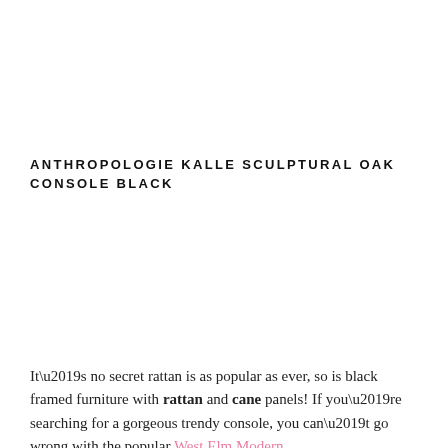ANTHROPOLOGIE KALLE SCULPTURAL OAK CONSOLE BLACK
It’s no secret rattan is as popular as ever, so is black framed furniture with rattan and cane panels! If you’re searching for a gorgeous trendy console, you can’t go wrong with the popular West Elm Modern